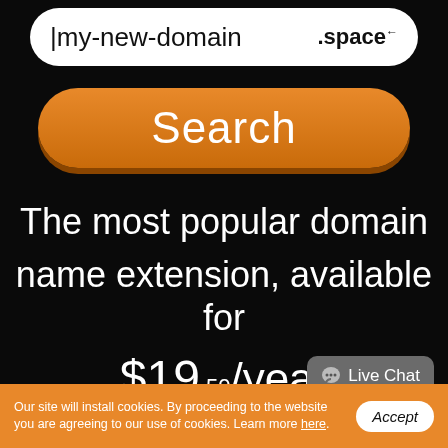[Figure (screenshot): Domain name search input bar with text 'my-new-domain' on left and '.space' on right, white rounded pill shape on dark background]
[Figure (screenshot): Orange rounded Search button with white text 'Search']
The most popular domain name extension, available for $19.50/year
[Figure (screenshot): Live Chat button, grey rounded rectangle with chat bubble icon and text 'Live Chat']
Our site will install cookies. By proceeding to the website you are agreeing to our use of cookies. Learn more here.